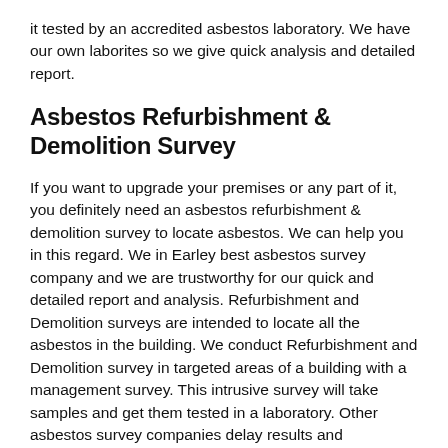it tested by an accredited asbestos laboratory. We have our own laborites so we give quick analysis and detailed report.
Asbestos Refurbishment & Demolition Survey
If you want to upgrade your premises or any part of it, you definitely need an asbestos refurbishment & demolition survey to locate asbestos. We can help you in this regard. We in Earley best asbestos survey company and we are trustworthy for our quick and detailed report and analysis. Refurbishment and Demolition surveys are intended to locate all the asbestos in the building. We conduct Refurbishment and Demolition survey in targeted areas of a building with a management survey. This intrusive survey will take samples and get them tested in a laboratory. Other asbestos survey companies delay results and